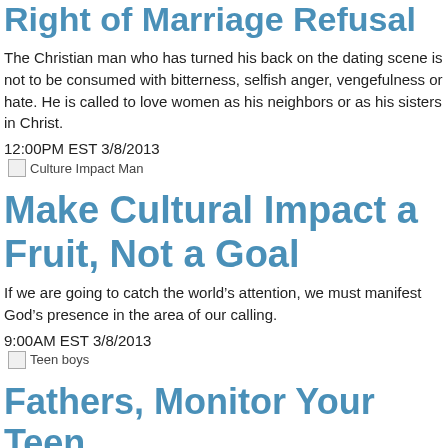Right of Marriage Refusal
The Christian man who has turned his back on the dating scene is not to be consumed with bitterness, selfish anger, vengefulness or hate. He is called to love women as his neighbors or as his sisters in Christ.
12:00PM EST 3/8/2013
[Figure (photo): Culture Impact Man thumbnail image]
Make Cultural Impact a Fruit, Not a Goal
If we are going to catch the world’s attention, we must manifest God’s presence in the area of our calling.
9:00AM EST 3/8/2013
[Figure (photo): Teen boys thumbnail image]
Fathers, Monitor Your Teen and His Friends